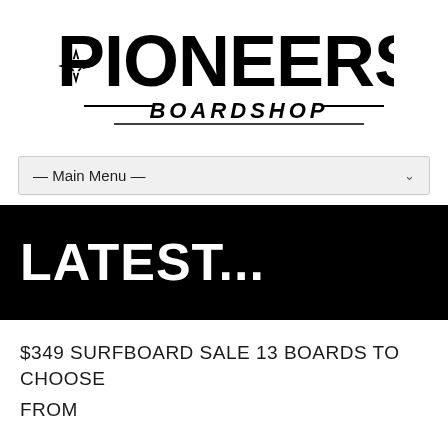[Figure (logo): Pioneers Boardshop logo — large bold black lettering 'PIONEERS' in a retro skate font with a star/pinwheel emblem on the left, and 'BOARDSHOP' in italic script below with decorative underlines]
— Main Menu —
LATEST...
$349 SURFBOARD SALE 13 BOARDS TO CHOOSE FROM